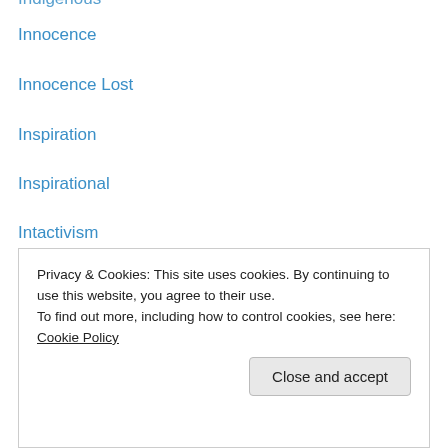Indigenous
Innocence
Innocence Lost
Inspiration
Inspirational
Intactivism
Interview
Ireland
Irish
Irish Poets
James Oppenheim
Jesus
Jesus said
JFK
Privacy & Cookies: This site uses cookies. By continuing to use this website, you agree to their use. To find out more, including how to control cookies, see here: Cookie Policy
Kahlil Gibran